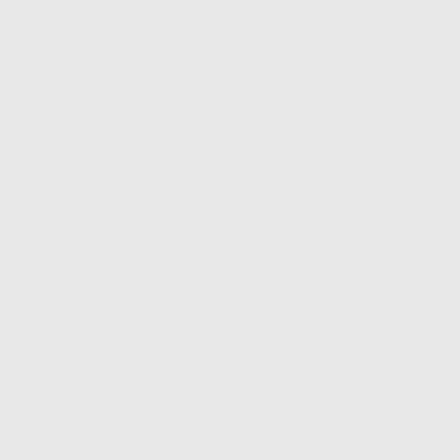walking across it.
He start moving. Pretty soon, argh (sound of falling in). He thought he's drowned. From there he start run.
Before he gave this -- one of those two rock and a -- yeah, rock, he told if devil going to catch you up drop --
drop this Ch'iitthoo down and it going to